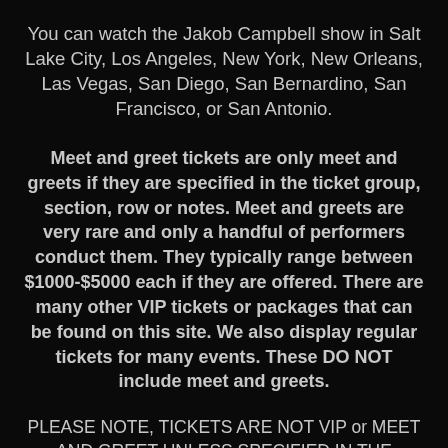You can watch the Jakob Campbell show in Salt Lake City, Los Angeles, New York, New Orleans, Las Vegas, San Diego, San Bernardino, San Francisco, or San Antonio.
Meet and greet tickets are only meet and greets if they are specified in the ticket group, section, row or notes. Meet and greets are very rare and only a handful of performers conduct them. They typically range between $1000-$5000 each if they are offered. There are many other VIP tickets or packages that can be found on this site. We also display regular tickets for many events. These DO NOT include meet and greets.
PLEASE NOTE, TICKETS ARE NOT VIP or MEET AND GREET UNLESS SPECIFIED IN THE SECTION, ROW or